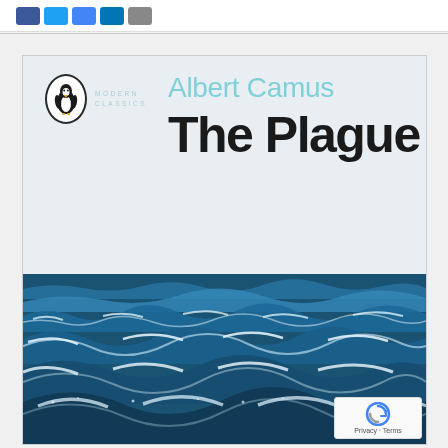Social share buttons: Facebook, Twitter, Google+, LinkedIn, Email
[Figure (illustration): Book cover of 'The Plague' by Albert Camus, Penguin Modern Classics edition. Upper portion has a light grey-blue background with the Penguin Modern Classics logo (penguin in oval) top left, 'Albert Camus' in light teal text, and 'The Plague' in large bold black text. Lower half shows a photograph of a turbulent dark blue ocean with whitecapped waves.]